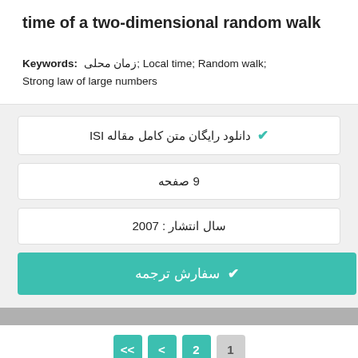time of a two-dimensional random walk
Keywords: زمان محلی; Local time; Random walk; Strong law of large numbers
دانلود رایگان متن کامل مقاله ISI
9 صفحه
سال انتشار : 2007
سفارش ترجمه
<< < 2 1